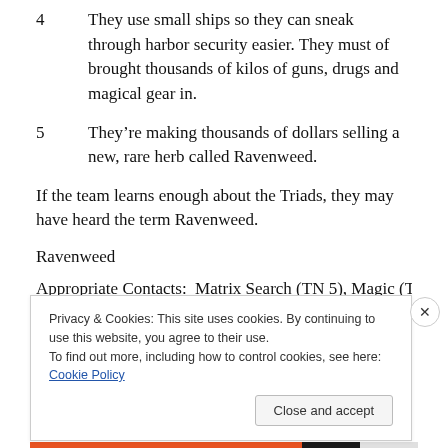4	They use small ships so they can sneak through harbor security easier.  They must of brought thousands of kilos of guns, drugs and magical gear in.
5	They’re making thousands of dollars selling a new, rare herb called Ravenweed.
If the team learns enough about the Triads, they may have heard the term Ravenweed.
Ravenweed
Appropriate Contacts:  Matrix Search (TN 5), Magic (TN 4)
Privacy & Cookies: This site uses cookies. By continuing to use this website, you agree to their use.
To find out more, including how to control cookies, see here: Cookie Policy